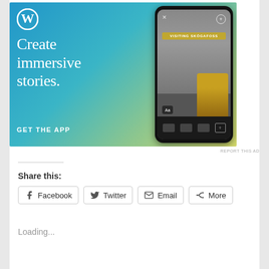[Figure (screenshot): WordPress advertisement: blue-to-yellow gradient background with WordPress logo (W in circle), text 'Create immersive stories.' in serif font, 'GET THE APP' CTA, and a smartphone showing a waterfall photo with 'VISITING SKÓGAFOSS' title bar and a person in yellow jacket.]
REPORT THIS AD
Share this:
Facebook
Twitter
Email
More
Loading...